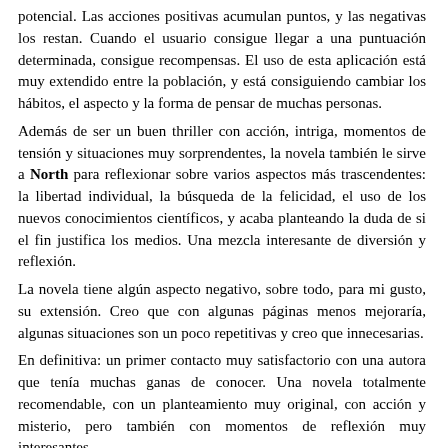potencial. Las acciones positivas acumulan puntos, y las negativas los restan. Cuando el usuario consigue llegar a una puntuación determinada, consigue recompensas. El uso de esta aplicación está muy extendido entre la población, y está consiguiendo cambiar los hábitos, el aspecto y la forma de pensar de muchas personas.
Además de ser un buen thriller con acción, intriga, momentos de tensión y situaciones muy sorprendentes, la novela también le sirve a North para reflexionar sobre varios aspectos más trascendentes: la libertad individual, la búsqueda de la felicidad, el uso de los nuevos conocimientos científicos, y acaba planteando la duda de si el fin justifica los medios. Una mezcla interesante de diversión y reflexión.
La novela tiene algún aspecto negativo, sobre todo, para mi gusto, su extensión. Creo que con algunas páginas menos mejoraría, algunas situaciones son un poco repetitivas y creo que innecesarias.
En definitiva: un primer contacto muy satisfactorio con una autora que tenía muchas ganas de conocer. Una novela totalmente recomendable, con un planteamiento muy original, con acción y misterio, pero también con momentos de reflexión muy interesantes.